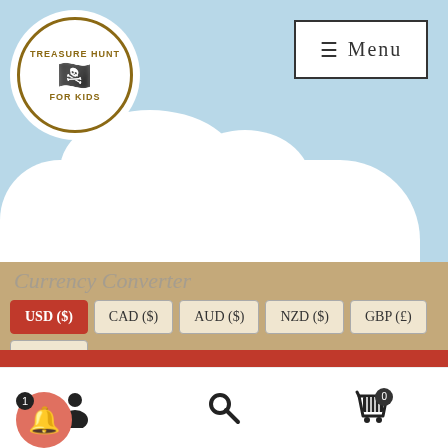[Figure (screenshot): Treasure Hunt For Kids website screenshot showing logo, menu button, currency converter with USD selected, and a red promotional notification banner.]
Treasure Hunt For Kids - Menu
Currency Converter
USD ($) - selected
CAD ($)
AUD ($)
NZD ($)
GBP (£)
EUR (€)
Get 30% OFF on the 2nd game purchased (direct shopping cart discount).
Dismiss